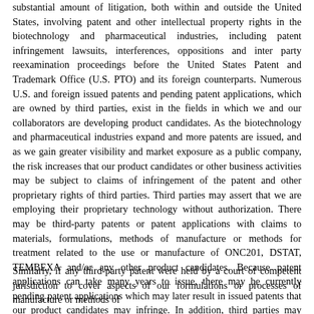substantial amount of litigation, both within and outside the United States, involving patent and other intellectual property rights in the biotechnology and pharmaceutical industries, including patent infringement lawsuits, interferences, oppositions and inter party reexamination proceedings before the United States Patent and Trademark Office (U.S. PTO) and its foreign counterparts. Numerous U.S. and foreign issued patents and pending patent applications, which are owned by third parties, exist in the fields in which we and our collaborators are developing product candidates. As the biotechnology and pharmaceutical industries expand and more patents are issued, and as we gain greater visibility and market exposure as a public company, the risk increases that our product candidates or other business activities may be subject to claims of infringement of the patent and other proprietary rights of third parties. Third parties may assert that we are employing their proprietary technology without authorization. There may be third-party patents or patent applications with claims to materials, formulations, methods of manufacture or methods for treatment related to the use or manufacture of ONC201, DSTAT, TEMBEXA and/or any other product candidates. Because patent applications can take many years to issue, there may be currently pending patent applications which may later result in issued patents that our product candidates may infringe. In addition, third parties may obtain patents in the future and claim that use of our technologies infringes upon these patents. If any third-party patents were held by a court of competent jurisdiction to cover the manufacturing process of any of our product candidates, any molecules formed during the manufacturing process or any final product itself, the holders of any such patents may be able to block our ability to commercialize such product candidate unless we obtained a license under the applicable patents, or until such patents expire.
Similarly, if any third-party patent were held by a court of competent jurisdiction to cover aspects of our formulations or processes of manufacture or methods of